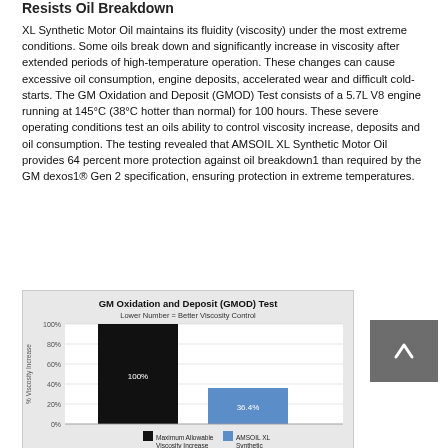Resists Oil Breakdown
XL Synthetic Motor Oil maintains its fluidity (viscosity) under the most extreme conditions. Some oils break down and significantly increase in viscosity after extended periods of high-temperature operation. These changes can cause excessive oil consumption, engine deposits, accelerated wear and difficult cold-starts. The GM Oxidation and Deposit (GMOD) Test consists of a 5.7L V8 engine running at 145°C (38°C hotter than normal) for 100 hours. These severe operating conditions test an oils ability to control viscosity increase, deposits and oil consumption. The testing revealed that AMSOIL XL Synthetic Motor Oil provides 64 percent more protection against oil breakdown1 than required by the GM dexos1® Gen 2 specification, ensuring protection in extreme temperatures.
[Figure (bar-chart): GM Oxidation and Deposit (GMOD) Test]